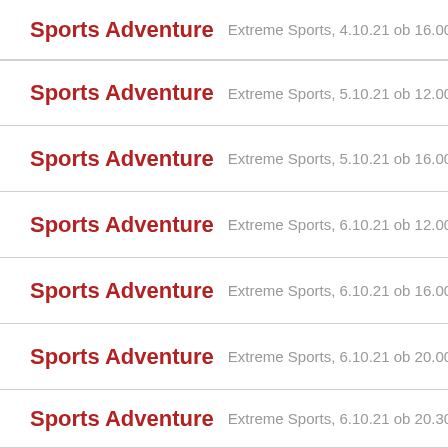Sports Adventure — Extreme Sports, 4.10.21 ob 16.00
Sports Adventure — Extreme Sports, 5.10.21 ob 12.00
Sports Adventure — Extreme Sports, 5.10.21 ob 16.00
Sports Adventure — Extreme Sports, 6.10.21 ob 12.00
Sports Adventure — Extreme Sports, 6.10.21 ob 16.00
Sports Adventure — Extreme Sports, 6.10.21 ob 20.00
Sports Adventure — Extreme Sports, 6.10.21 ob 20.30